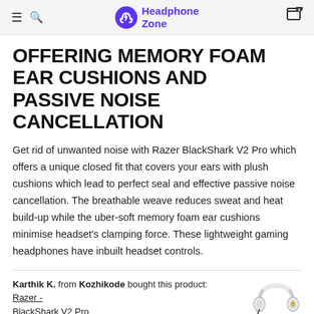Headphone Zone
OFFERING MEMORY FOAM EAR CUSHIONS AND PASSIVE NOISE CANCELLATION
Get rid of unwanted noise with Razer BlackShark V2 Pro which offers a unique closed fit that covers your ears with plush cushions which lead to perfect seal and effective passive noise cancellation. The breathable weave reduces sweat and heat build-up while the uber-soft memory foam ear cushions minimise headset's clamping force. These lightweight gaming headphones have inbuilt headset controls.
Karthik K. from Kozhikode bought this product: Razer - BlackShark V2 Pro recently
[Figure (photo): Gaming headphone product image - Razer BlackShark V2 Pro, white and black headset with microphone]